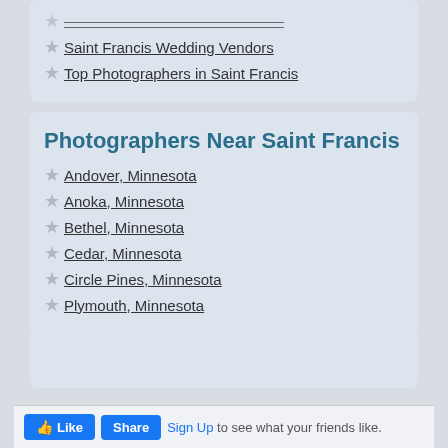Saint Francis Wedding Vendors
Top Photographers in Saint Francis
Photographers Near Saint Francis
Andover, Minnesota
Anoka, Minnesota
Bethel, Minnesota
Cedar, Minnesota
Circle Pines, Minnesota
Plymouth, Minnesota
Sign Up to see what your friends like.